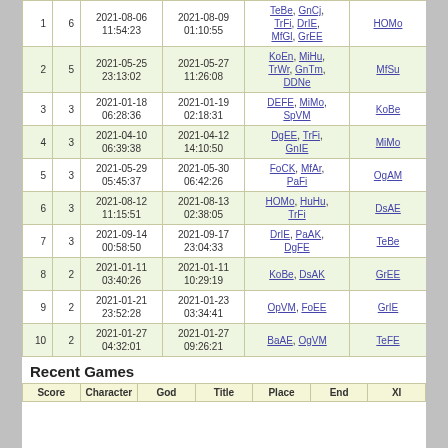|  |  | Start | End | Players | Winner |
| --- | --- | --- | --- | --- | --- |
| 1 | 6 | 2021-08-06 11:54:23 | 2021-08-09 01:10:55 | TeBe, GnCj, TrFi, DrIE, MfGl, GrEE | HOMo |
| 2 | 5 | 2021-05-25 23:13:02 | 2021-05-27 11:26:08 | KoEn, MiHu, TrWr, GnTm, DDNe | MfSu |
| 3 | 3 | 2021-01-18 06:28:36 | 2021-01-19 02:18:31 | DEFE, MiMo, SpVM | KoBe |
| 4 | 3 | 2021-04-10 06:39:38 | 2021-04-12 14:10:50 | DgEE, TrFi, GnIE | MiMo |
| 5 | 3 | 2021-05-29 05:45:37 | 2021-05-30 06:42:26 | FoCK, MfAr, PaFi | OgAM |
| 6 | 3 | 2021-08-12 11:15:51 | 2021-08-13 02:38:05 | HOMo, HuHu, TrFi | DsAE |
| 7 | 3 | 2021-09-14 00:58:50 | 2021-09-17 23:04:33 | DrIE, PaAK, DgFE | TeBe |
| 8 | 2 | 2021-01-11 03:40:26 | 2021-01-11 10:29:19 | KoBe, DsAK | GrEE |
| 9 | 2 | 2021-01-21 23:52:28 | 2021-01-23 03:34:41 | OpVM, FoEE | GrIE |
| 10 | 2 | 2021-01-27 04:32:01 | 2021-01-27 09:26:21 | BaAE, OgVM | TeFE |
Recent Games
| Score | Character | God | Title | Place | End | XI |
| --- | --- | --- | --- | --- | --- | --- |